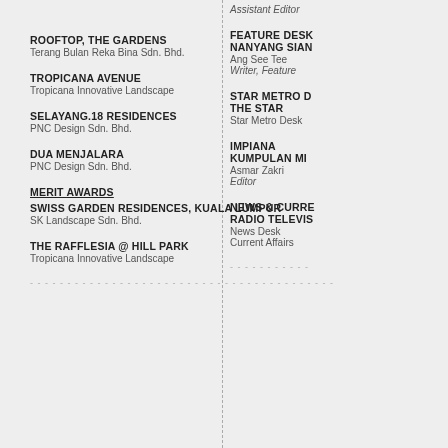ROOFTOP, THE GARDENS
Terang Bulan Reka Bina Sdn. Bhd.
TROPICANA AVENUE
Tropicana Innovative Landscape
SELAYANG.18 RESIDENCES
PNC Design Sdn. Bhd.
DUA MENJALARA
PNC Design Sdn. Bhd.
MERIT AWARDS
SWISS GARDEN RESIDENCES, KUALA LUMPUR
SK Landscape Sdn. Bhd.
THE RAFFLESIA @ HILL PARK
Tropicana Innovative Landscape
Assistant Editor
FEATURE DESK
NANYANG SIANG PAU
Ang See Tee
Writer, Features
STAR METRO DESK
THE STAR
Star Metro Desk
IMPIANA
KUMPULAN MEDIA KARANGKRAF
Asmar Zakri
Editor
NEWS & CURRENT AFFAIRS
RADIO TELEVISION MALAYSIA
News Desk
Current Affairs